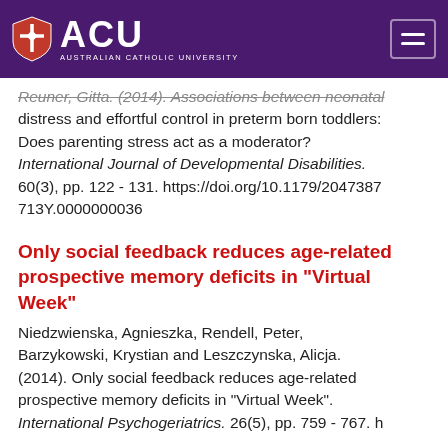ACU — Australian Catholic University
Reuner, Gitta. (2014). Associations between neonatal distress and effortful control in preterm born toddlers: Does parenting stress act as a moderator? International Journal of Developmental Disabilities. 60(3), pp. 122 - 131. https://doi.org/10.1179/2047387713Y.0000000036
Only social feedback reduces age-related prospective memory deficits in "Virtual Week"
Niedzwienska, Agnieszka, Rendell, Peter, Barzykowski, Krystian and Leszczynska, Alicja. (2014). Only social feedback reduces age-related prospective memory deficits in "Virtual Week". International Psychogeriatrics. 26(5), pp. 759 - 767. h